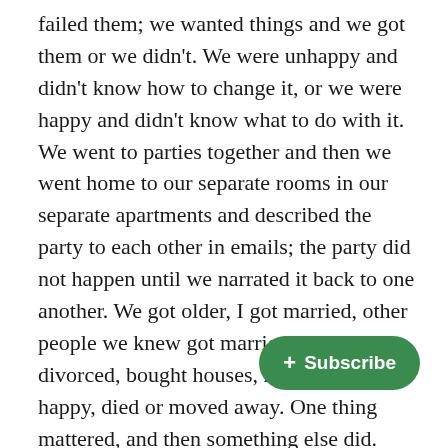failed them; we wanted things and we got them or we didn't. We were unhappy and didn't know how to change it, or we were happy and didn't know what to do with it. We went to parties together and then we went home to our separate rooms in our separate apartments and described the party to each other in emails; the party did not happen until we narrated it back to one another. We got older, I got married, other people we knew got married. People got divorced, bought houses, had babies, got happy, died or moved away. One thing mattered, and then something else did. Sometimes we got sick, and then we got better, or sort of, or mostly, in the way bodies do and don't recover. We emailed each other about it, the big and the small the same size in gmail paragraphs.

Two years ago, almost exactly, Vicki mentioned Covid